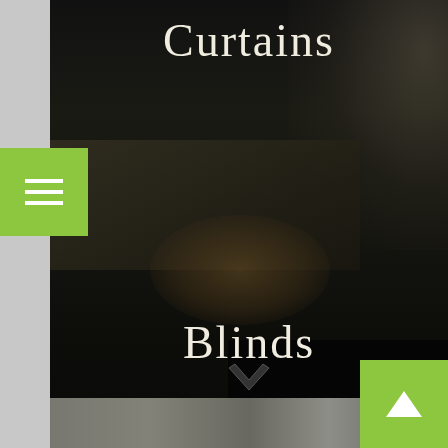[Figure (photo): Dark interior room photo showing curtains and furniture with a wicker mat on a table, dimly lit]
Curtains
Blinds
[Figure (photo): Bottom portion of interior room photo, lighter area]
[Figure (other): Green hamburger menu button with three white horizontal lines]
[Figure (other): Green back-to-top button with white upward arrow]